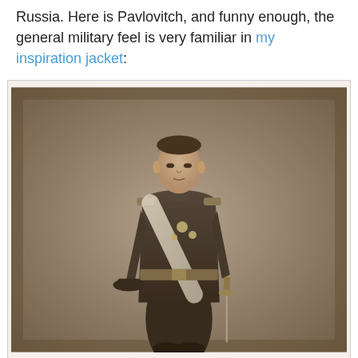Russia. Here is Pavlovitch, and funny enough, the general military feel is very familiar in my inspiration jacket:
[Figure (photo): Sepia-toned historical photograph of a young man in full military dress uniform, standing upright. He wears a dark jacket with epaulettes, medals, and a white sash across his chest, a wide military belt at the waist, and tall dark boots. He holds a hat in his left hand and a ceremonial sword in his right. The background is plain and dark in a classic portrait studio style.]